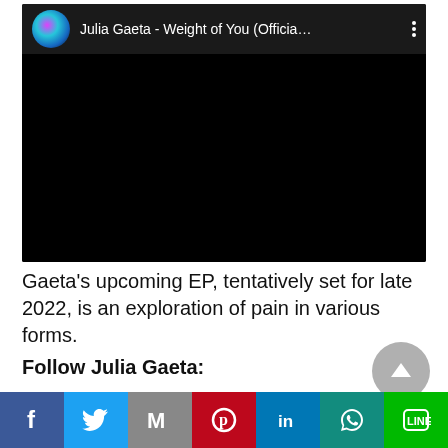[Figure (screenshot): Embedded YouTube video player showing 'Julia Gaeta - Weight of You (Officia...' with a circular profile avatar (colorful abstract design) and three-dot menu icon on dark background.]
Gaeta's upcoming EP, tentatively set for late 2022, is an exploration of pain in various forms.
Follow Julia Gaeta:
[Figure (infographic): Social sharing bar with buttons: Facebook (blue, F icon), Twitter (light blue, bird icon), Gmail (grey, M icon), Pinterest (red, P icon), LinkedIn (blue, in icon), WhatsApp (teal, phone icon), LINE (green, LINE icon).]